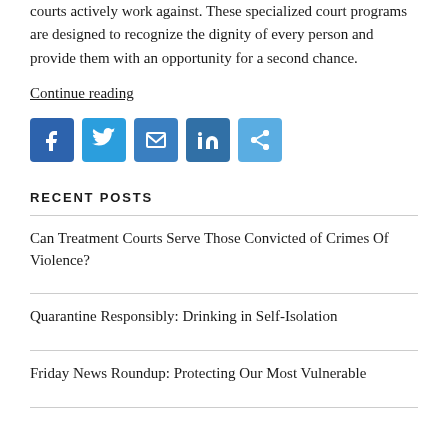courts actively work against. These specialized court programs are designed to recognize the dignity of every person and provide them with an opportunity for a second chance.
Continue reading
[Figure (infographic): Row of five social sharing buttons: Facebook (blue), Twitter (light blue), Email (blue), LinkedIn (blue), More/Share (light blue)]
RECENT POSTS
Can Treatment Courts Serve Those Convicted of Crimes Of Violence?
Quarantine Responsibly: Drinking in Self-Isolation
Friday News Roundup: Protecting Our Most Vulnerable